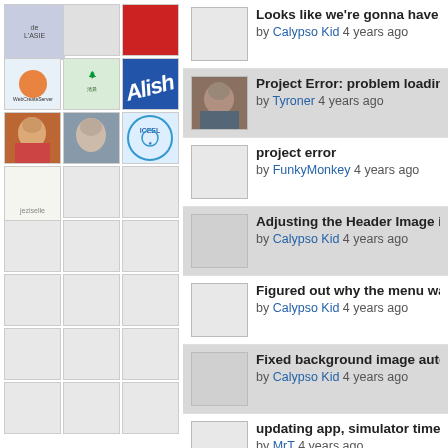[Figure (screenshot): Left column image grid with thumbnails: de l'Asie logo, blank, red image, web icon, green logo, Alish text, girl illustration, girl photo, ICEEL logo, Jeziselle text, and multiple blank placeholder squares]
Looks like we're gonna have to ski by Calypso Kid 4 years ago
Project Error: problem loading a se by Tyroner 4 years ago
project error by FunkyMonkey 4 years ago
Adjusting the Header Image in CR by Calypso Kid 4 years ago
Figured out why the menu was cut by Calypso Kid 4 years ago
Fixed background image auto sizing by Calypso Kid 4 years ago
updating app, simulator times out by MrT 4 years ago
Back to sizing and BT4 by Calypso Kid 4 years ago
BT and iPhone X by gutzy 4 years ago